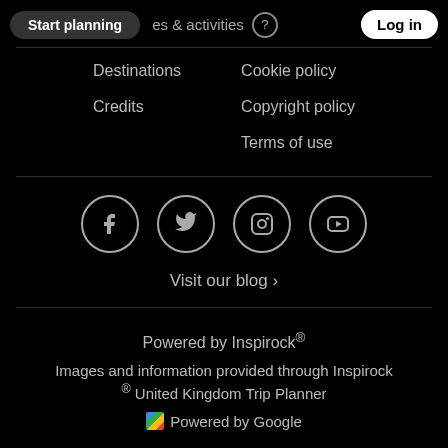Start planning | places & activities | Log in
Destinations
Credits
Cookie policy
Copyright policy
Terms of use
[Figure (illustration): Social media icons in circles: Facebook, Twitter, Instagram, YouTube]
Visit our blog ›
Powered by Inspirock®
Images and information provided through Inspirock ® United Kingdom Trip Planner
Powered by Google